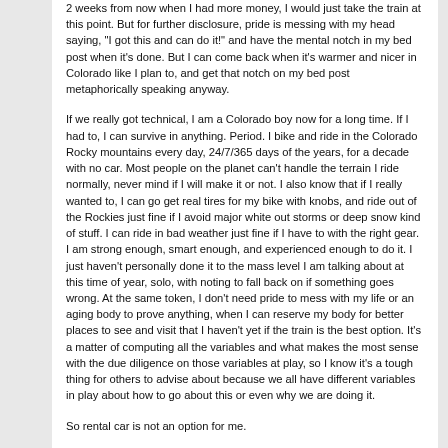2 weeks from now when I had more money, I would just take the train at this point. But for further disclosure, pride is messing with my head saying, "I got this and can do it!" and have the mental notch in my bed post when it's done. But I can come back when it's warmer and nicer in Colorado like I plan to, and get that notch on my bed post metaphorically speaking anyway.
If we really got technical, I am a Colorado boy now for a long time. If I had to, I can survive in anything. Period. I bike and ride in the Colorado Rocky mountains every day, 24/7/365 days of the years, for a decade with no car. Most people on the planet can't handle the terrain I ride normally, never mind if I will make it or not. I also know that if I really wanted to, I can go get real tires for my bike with knobs, and ride out of the Rockies just fine if I avoid major white out storms or deep snow kind of stuff. I can ride in bad weather just fine if I have to with the right gear. I am strong enough, smart enough, and experienced enough to do it. I just haven't personally done it to the mass level I am talking about at this time of year, solo, with noting to fall back on if something goes wrong. At the same token, I don't need pride to mess with my life or an aging body to prove anything, when I can reserve my body for better places to see and visit that I haven't yet if the train is the best option. It's a matter of computing all the variables and what makes the most sense with the due diligence on those variables at play, so I know it's a tough thing for others to advise about because we all have different variables in play about how to go about this or even why we are doing it.
So rental car is not an option for me.